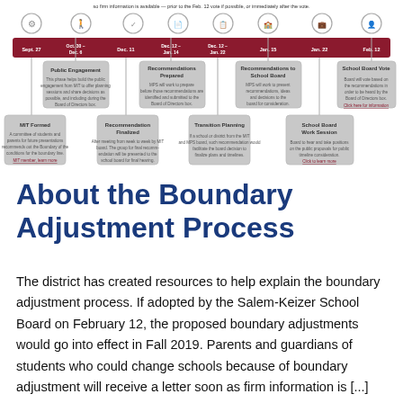[Figure (flowchart): Boundary adjustment process timeline diagram showing sequential steps from Sept. 27 through Feb. 12, with icons above a horizontal bar containing dates (Sept. 27, Oct. 30–Dec. 6, Dec. 11, Dec. 12–Jan. 14, Dec. 12–Jan. 22, Jan. 15, Jan. 22, Feb. 12) and labeled boxes above and below the bar describing phases: MIT Formed, Public Engagement, Recommendations Prepared, Recommendation Posted, Transition Planning, Recommendations to School Board, School Board Work Session, School Board Vote.]
About the Boundary Adjustment Process
The district has created resources to help explain the boundary adjustment process. If adopted by the Salem-Keizer School Board on February 12, the proposed boundary adjustments would go into effect in Fall 2019. Parents and guardians of students who could change schools because of boundary adjustment will receive a letter soon as firm information is [...]